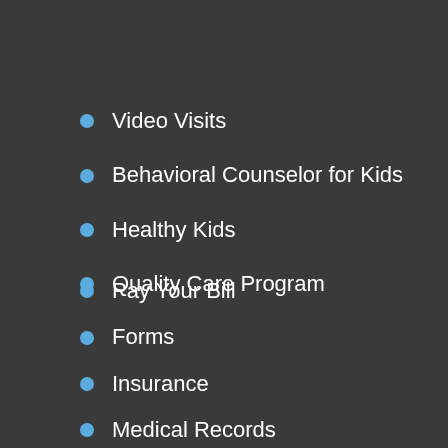Video Visits
Behavioral Counselor for Kids
Healthy Kids
Quality Care Program
Pay Your Bill
Forms
Insurance
Medical Records
Call Our Patient Care Coordination Center